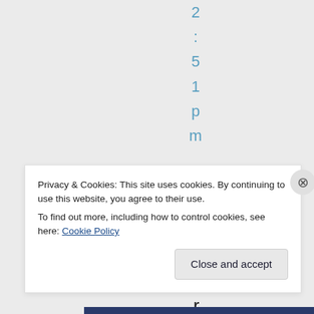2:51pm
Great
Privacy & Cookies: This site uses cookies. By continuing to use this website, you agree to their use.
To find out more, including how to control cookies, see here: Cookie Policy
Close and accept